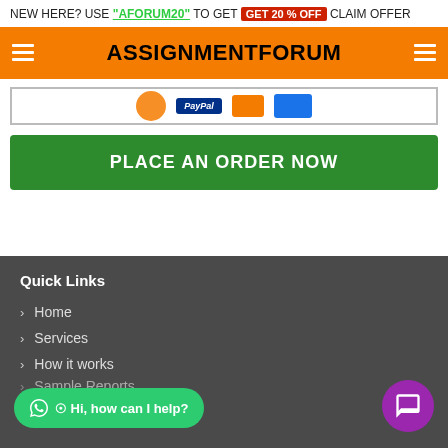NEW HERE? USE "AFORUM20" TO GET GET 20 % OFF CLAIM OFFER
ASSIGNMENTFORUM
[Figure (screenshot): Payment icons strip showing payment method logos including a circle icon, PayPal, orange rectangle and blue rectangle]
PLACE AN ORDER NOW
Quick Links
Home
Services
How it works
Sample Reports
Hi, how can I help?